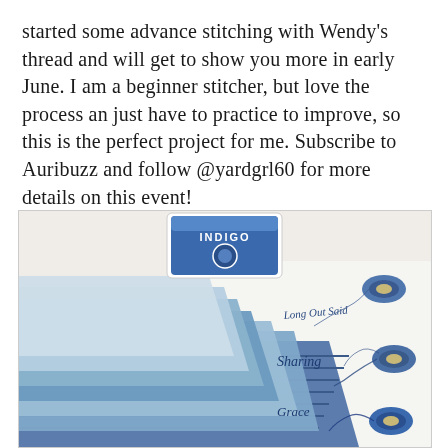started some advance stitching with Wendy's thread and will get to show you more in early June. I am a beginner stitcher, but love the process an just have to practice to improve, so this is the perfect project for me. Subscribe to Auribuzz and follow @yardgrl60 for more details on this event!
[Figure (photo): A flat lay photo on a white surface showing a stack of blue fabric fat quarters in various blue patterns (polka dots, stripes, floral, gingham), an 'Indigo' branded box of thread at the top center, white fabric pieces with hand-embroidered cursive words 'Long Out Said', 'Sharing', and 'Grace', and several spools/bobbins of blue embroidery thread on the right side.]